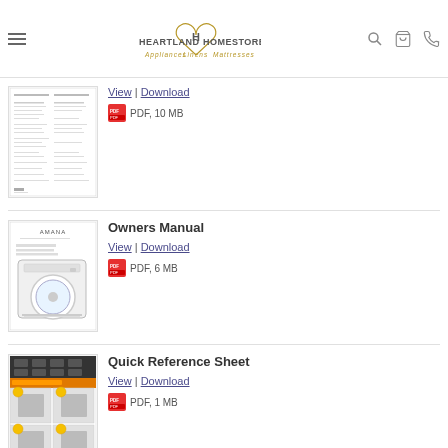Heartland Homestore — Appliances Linens Mattresses
View | Download
PDF, 10 MB
Owners Manual
View | Download
PDF, 6 MB
Quick Reference Sheet
View | Download
PDF, 1 MB